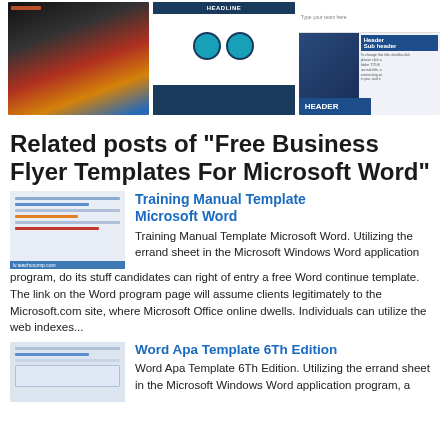[Figure (illustration): Three website/document template preview images side by side showing business flyer designs]
Related posts of "Free Business Flyer Templates For Microsoft Word"
[Figure (illustration): Training Manual Template Microsoft Word thumbnail]
Training Manual Template Microsoft Word
Training Manual Template Microsoft Word. Utilizing the errand sheet in the Microsoft Windows Word application program, do its stuff candidates can right of entry a free Word continue template. The link on the Word program page will assume clients legitimately to the Microsoft.com site, where Microsoft Office online dwells. Individuals can utilize the web indexes...
[Figure (illustration): Word Apa Template 6Th Edition thumbnail]
Word Apa Template 6Th Edition
Word Apa Template 6Th Edition. Utilizing the errand sheet in the Microsoft Windows Word application program, a